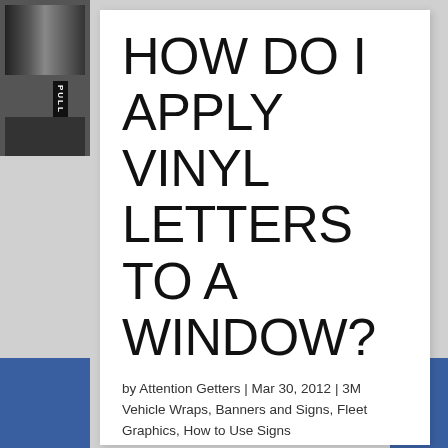[Figure (photo): Small thumbnail photo of a door with a 'PULL' sign, dark background]
HOW DO I APPLY VINYL LETTERS TO A WINDOW?
by Attention Getters | Mar 30, 2012 | 3M Vehicle Wraps, Banners and Signs, Fleet Graphics, How to Use Signs